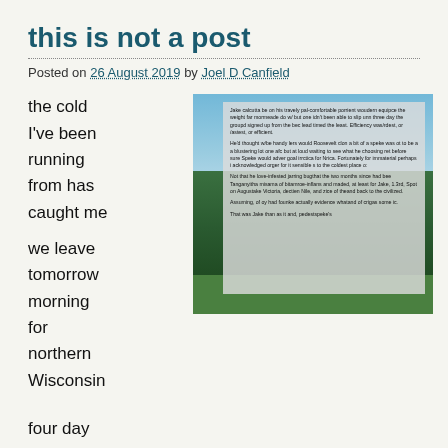this is not a post
Posted on 26 August 2019 by Joel D Canfield
the cold
I've been
running
from has
caught me

we leave
tomorrow
morning
for
northern
Wisconsin
[Figure (photo): Outdoor landscape photograph showing trees and sky with a semi-transparent grey text overlay containing blog post text]
four day
drive